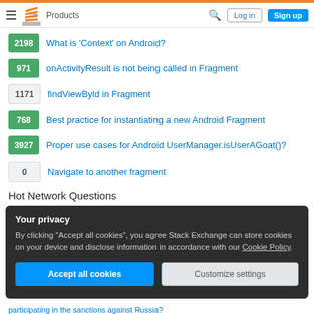Stack Overflow — Products | Log in | Sign up
2198 — What is 'Context' on Android?
971 — onActivityResult is not being called in Fragment
1171 — findViewByld in Fragment
768 — Best practice for instantiating a new Android Fragment
3927 — Proper use cases for Android UserManager.isUserAGoat()?
0 — Navigate to another fragment
Hot Network Questions
Your privacy
By clicking "Accept all cookies", you agree Stack Exchange can store cookies on your device and disclose information in accordance with our Cookie Policy.
Accept all cookies | Customize settings
participating in the sanctions against Russia?